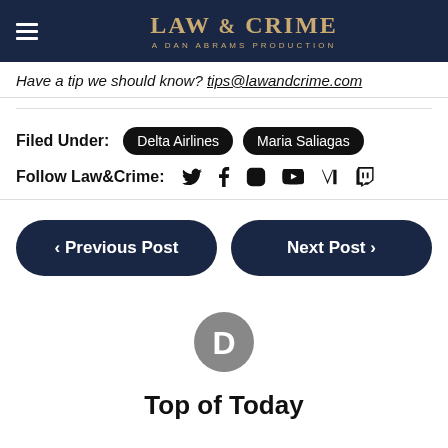LAW & CRIME — A DAN ABRAMS PRODUCTION
Have a tip we should know? tips@lawandcrime.com
Filed Under: Delta Airlines, Maria Saliagas
Follow Law&Crime: [social icons: Twitter, Facebook, Instagram, YouTube, Newsweek, Twitch]
◄ Previous Post   Next Post ►
[Figure (logo): Disqus logo — grey circle with letter D and speech bubble]
Top of Today